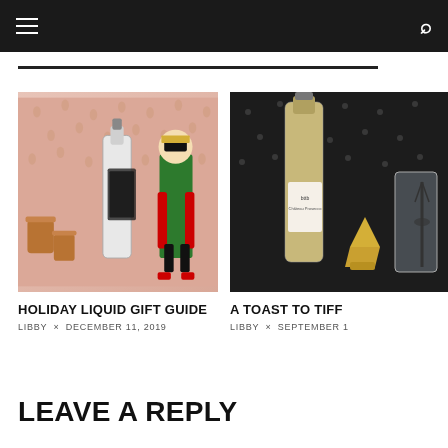Navigation bar with hamburger menu and search icon
[Figure (photo): Holiday gift guide photo with pink polka-dot background featuring a vodka bottle, nutcracker figurine, and copper cups]
HOLIDAY LIQUID GIFT GUIDE
LIBBY × DECEMBER 11, 2019
[Figure (photo): A Toast to TIFF photo with dark background featuring a wine bottle, gold jigger, and glass with CN Tower design]
A TOAST TO TIFF
LIBBY × SEPTEMBER 1
LEAVE A REPLY